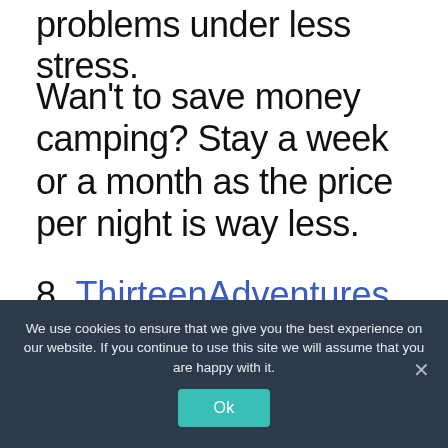problems under less stress.
Wan't to save money camping? Stay a week or a month as the price per night is way less.
8. ThirteenAdventures
We use cookies to ensure that we give you the best experience on our website. If you continue to use this site we will assume that you are happy with it.
Ok